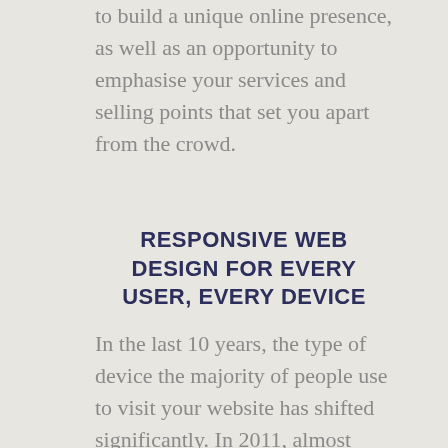to build a unique online presence, as well as an opportunity to emphasise your services and selling points that set you apart from the crowd.
RESPONSIVE WEB DESIGN FOR EVERY USER, EVERY DEVICE
In the last 10 years, the type of device the majority of people use to visit your website has shifted significantly. In 2011, almost everyone (95.55 per cent) was using the internet solely on their desktop/laptop, where today 54 per cent of potential customers will visit your site on their mobile device.